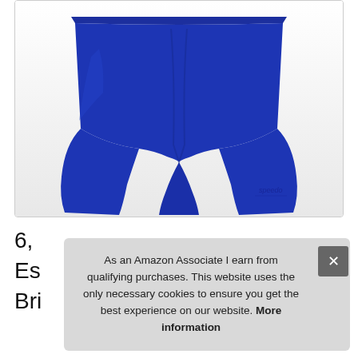[Figure (photo): Product photo of blue Speedo swimming jammer shorts on white background, cropped at waist, showing the two leg openings. A small Speedo logo is visible on the lower right leg.]
6, Es Bri
As an Amazon Associate I earn from qualifying purchases. This website uses the only necessary cookies to ensure you get the best experience on our website. More information